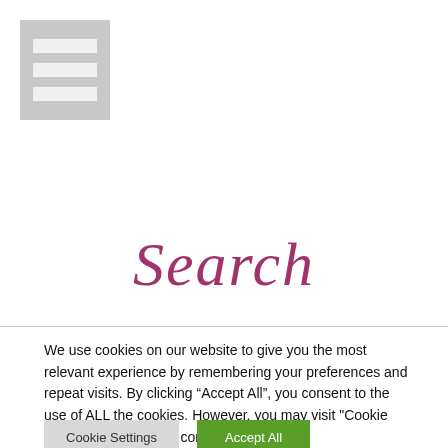[Figure (other): Hamburger menu icon — three horizontal light bars on a grey square background]
Search
We use cookies on our website to give you the most relevant experience by remembering your preferences and repeat visits. By clicking “Accept All”, you consent to the use of ALL the cookies. However, you may visit "Cookie Settings" to provide a controlled consent.
Cookie Settings | Accept All